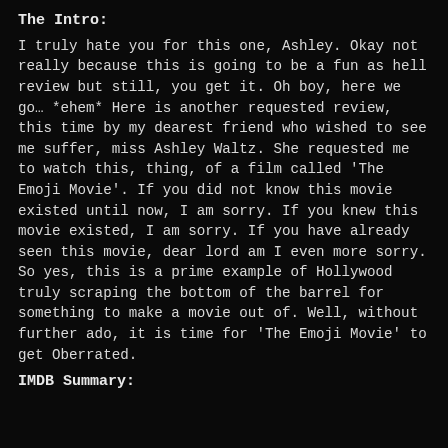The Intro:
I truly hate you for this one, Ashley. Okay not really because this is going to be a fun as hell review but still, you get it. Oh boy, here we go… *ehem* Here is another requested review, this time by my dearest friend who wished to see me suffer, miss Ashley Waltz. She requested me to watch this, thing, of a film called 'The Emoji Movie'. If you did not know this movie existed until now, I am sorry. If you knew this movie existed, I am sorry. If you have already seen this movie, dear lord am I even more sorry. So yes, this is a prime example of Hollywood truly scraping the bottom of the barrel for something to make a movie out of. Well, without further ado, it is time for 'The Emoji Movie' to get Oberrated.
IMDB Summary: